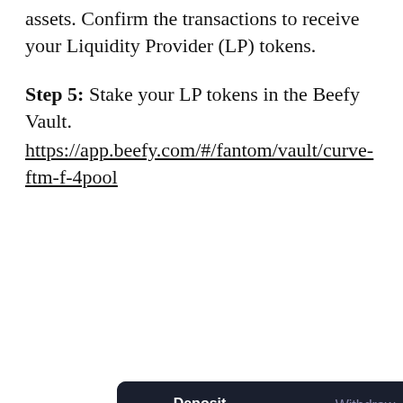assets. Confirm the transactions to receive your Liquidity Provider (LP) tokens.
Step 5: Stake your LP tokens in the Beefy Vault.
https://app.beefy.com/#/fantom/vault/curve-ftm-f-4pool
[Figure (screenshot): Beefy Finance vault deposit interface showing Deposit and Withdraw tabs, Wallet section with 0 4POOL-f balance, Add Liquidity button, and an input field showing 0.00 with a MAX button.]